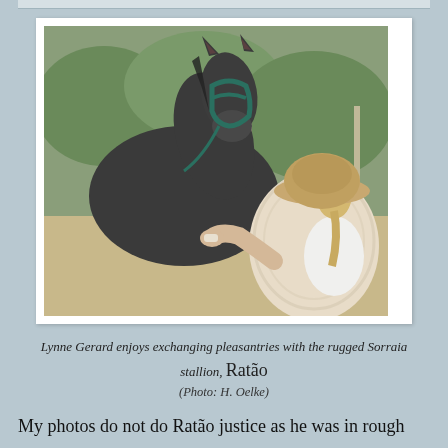[Figure (photo): A woman wearing a beige bucket hat and cream lace/crochet top, seen from behind, facing a dark grey horse (Sorraia stallion) with a teal halter. Background shows sandy ground and green trees.]
Lynne Gerard enjoys exchanging pleasantries with the rugged Sorraia stallion, Ratão
(Photo: H. Oelke)
My photos do not do Ratão justice as he was in rough